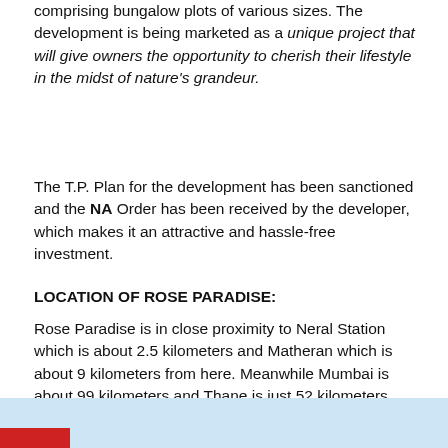comprising bungalow plots of various sizes. The development is being marketed as a unique project that will give owners the opportunity to cherish their lifestyle in the midst of nature's grandeur.
The T.P. Plan for the development has been sanctioned and the NA Order has been received by the developer, which makes it an attractive and hassle-free investment.
LOCATION OF ROSE PARADISE:
Rose Paradise is in close proximity to Neral Station which is about 2.5 kilometers and Matheran which is about 9 kilometers from here. Meanwhile Mumbai is about 99 kilometers and Thane is just 52 kilometers from the development and is well connected by the National Highway.
[Figure (other): Light blue banner/bar at bottom of page with a red accent block at bottom left]